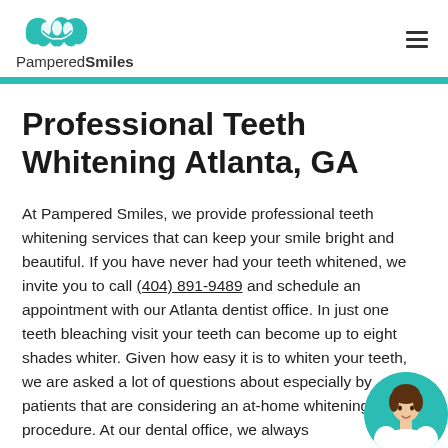[Figure (logo): Pampered Smiles logo with tooth/smile icon above the text]
Professional Teeth Whitening Atlanta, GA
At Pampered Smiles, we provide professional teeth whitening services that can keep your smile bright and beautiful. If you have never had your teeth whitened, we invite you to call (404) 891-9489 and schedule an appointment with our Atlanta dentist office. In just one teeth bleaching visit your teeth can become up to eight shades whiter. Given how easy it is to whiten your teeth, we are asked a lot of questions about especially by patients that are considering an at-home whitening procedure. At our dental office, we always
[Figure (photo): Circular photo of a woman (dental professional) in the bottom-right corner with teal background behind the circle]